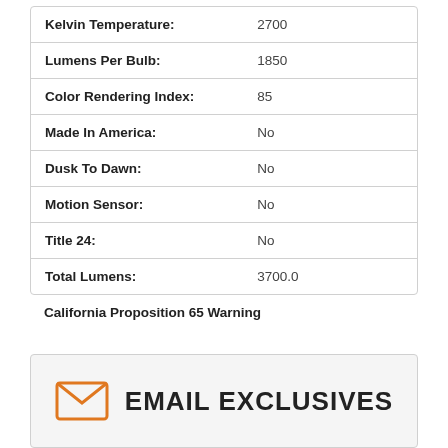| Property | Value |
| --- | --- |
| Kelvin Temperature: | 2700 |
| Lumens Per Bulb: | 1850 |
| Color Rendering Index: | 85 |
| Made In America: | No |
| Dusk To Dawn: | No |
| Motion Sensor: | No |
| Title 24: | No |
| Total Lumens: | 3700.0 |
California Proposition 65 Warning
[Figure (illustration): Email exclusives section with envelope icon and text EMAIL EXCLUSIVES]